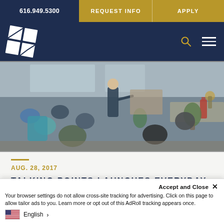616.949.5300 | REQUEST INFO | APPLY
[Figure (logo): Calvin University / College logo: white diamond/square icon with stylized leaf on dark navy background]
[Figure (photo): Indoor lecture or seminar scene: speaker standing at front gesturing toward a board/display, audience of 8-10 people seated at tables, industrial-style venue with brick walls, plants, and fire extinguisher visible]
AUG. 28, 2017
TALKING POINTS LAUNCHES EVERYDAY WORKS CURRICULUM
Accept and Close ✕
Your browser settings do not allow cross-site tracking for advertising. Click on this page to allow tailor ads to you. Learn more or opt out of this AdRoll tracking appears once.
English >